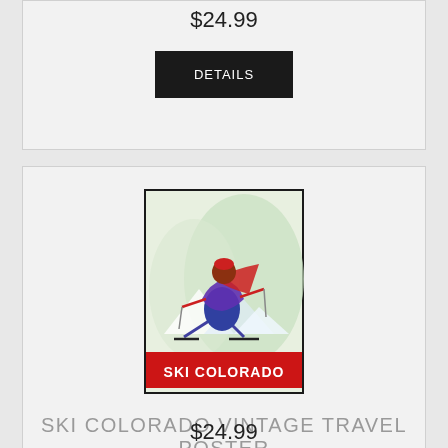$24.99
DETAILS
[Figure (illustration): Vintage ski Colorado travel poster showing a skier in red and blue outfit on snowy mountain with 'SKI COLORADO' text at bottom]
SKI COLORADO VINTAGE TRAVEL POSTER
$24.99